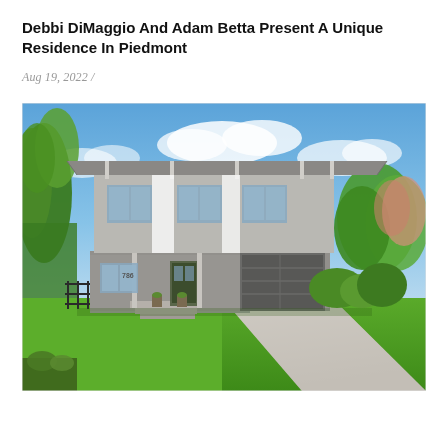Debbi DiMaggio And Adam Betta Present A Unique Residence In Piedmont
Aug 19, 2022 /
[Figure (photo): Exterior photo of a modern two-story residential home with gray siding, white accents, a two-car garage, front porch with steps, manicured green lawn, concrete driveway, surrounded by lush trees and greenery under a blue sky with clouds.]